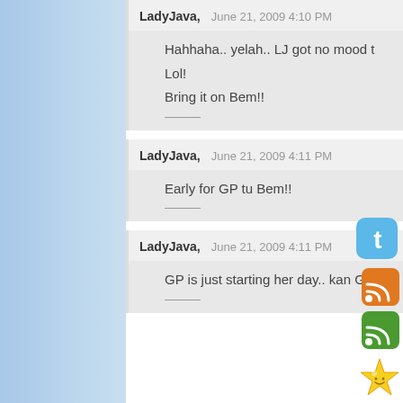LadyJava,   June 21, 2009 4:10 PM
Hahhaha.. yelah.. LJ got no mood t
Lol!
Bring it on Bem!!
LadyJava,   June 21, 2009 4:11 PM
Early for GP tu Bem!!
LadyJava,   June 21, 2009 4:11 PM
GP is just starting her day.. kan GP